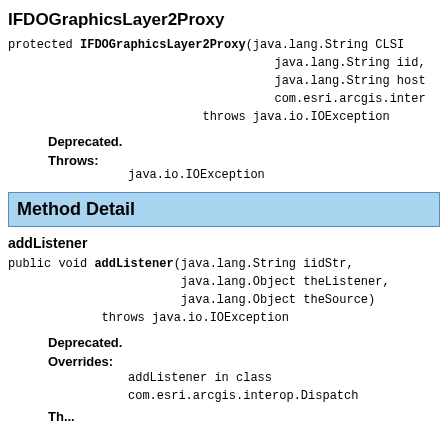IFDOGraphicsLayer2Proxy
protected IFDOGraphicsLayer2Proxy(java.lang.String CLSI
                                     java.lang.String iid,
                                     java.lang.String host
                                     com.esri.arcgis.inter
                           throws java.io.IOException
Deprecated.
Throws:
    java.io.IOException
Method Detail
addListener
public void addListener(java.lang.String iidStr,
                        java.lang.Object theListener,
                        java.lang.Object theSource)
             throws java.io.IOException
Deprecated.
Overrides:
    addListener in class
    com.esri.arcgis.interop.Dispatch
Th...